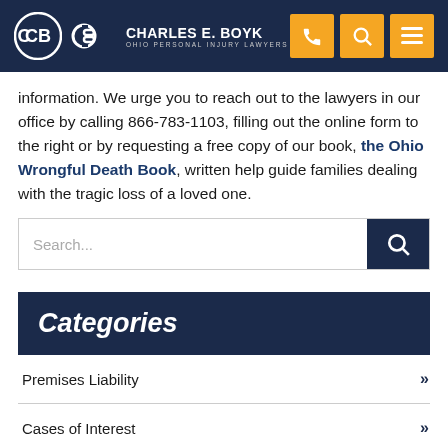Charles E. Boyk — Ohio Personal Injury Lawyers
information. We urge you to reach out to the lawyers in our office by calling 866-783-1103, filling out the online form to the right or by requesting a free copy of our book, the Ohio Wrongful Death Book, written help guide families dealing with the tragic loss of a loved one.
Categories
Premises Liability
Cases of Interest